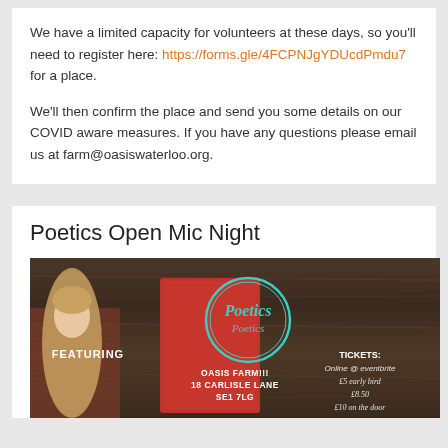We have a limited capacity for volunteers at these days, so you'll need to register here: https://forms.gle/4FCPNJgYDUcdPmdu7 for a place.
We'll then confirm the place and send you some details on our COVID aware measures. If you have any questions please email us at farm@oasiswaterloo.org.
Poetics Open Mic Night
[Figure (photo): Event poster for Poetics Open Mic Night at Oasis Farm, 18 Carlisle Lane SE1 7LG. Features a woman with long blonde hair, a red book with the Poetics logo in teal circle, text: FEATURING on the left, TICKETS: Online @ eventbrite, £5 early bird, £8.50, £10 on the door on the right.]